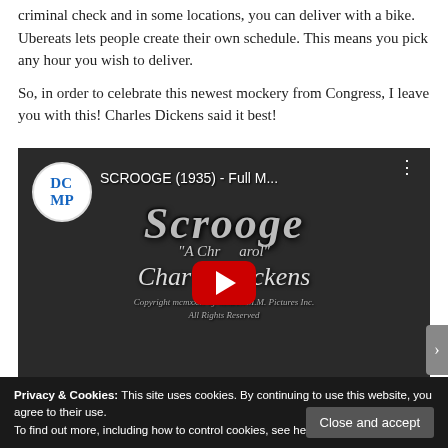criminal check and in some locations, you can deliver with a bike. Ubereats lets people create their own schedule. This means you pick any hour you wish to deliver.
So, in order to celebrate this newest mockery from Congress, I leave you with this! Charles Dickens said it best!
[Figure (screenshot): YouTube video thumbnail showing SCROOGE (1935) - Full M... with DCMP logo, play button, and text overlay showing 'Scrooge', 'A Christmas Carol', 'Charles Dickens', copyright notice]
Privacy & Cookies: This site uses cookies. By continuing to use this website, you agree to their use.
To find out more, including how to control cookies, see here: Cookie Policy